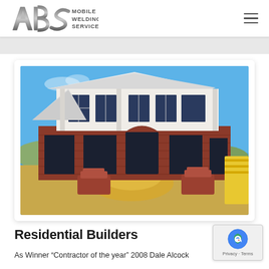ABS Mobile Welding Service
[Figure (photo): A large two-storey residential house under construction, with red brick lower level and white render upper level, wide eaves, large windows, and construction materials including sand piles and brick stacks in the foreground under a clear blue sky.]
Residential Builders
As Winner “Contractor of the year” 2008 Dale Alcock